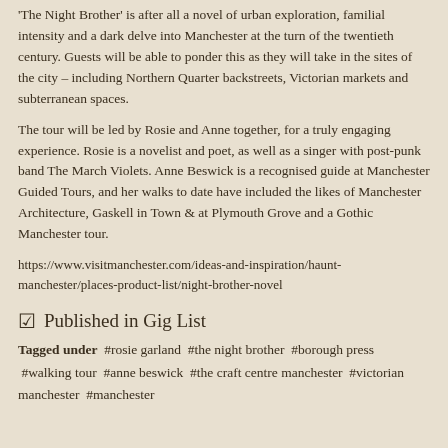'The Night Brother' is after all a novel of urban exploration, familial intensity and a dark delve into Manchester at the turn of the twentieth century. Guests will be able to ponder this as they will take in the sites of the city – including Northern Quarter backstreets, Victorian markets and subterranean spaces.
The tour will be led by Rosie and Anne together, for a truly engaging experience. Rosie is a novelist and poet, as well as a singer with post-punk band The March Violets. Anne Beswick is a recognised guide at Manchester Guided Tours, and her walks to date have included the likes of Manchester Architecture, Gaskell in Town & at Plymouth Grove and a Gothic Manchester tour.
https://www.visitmanchester.com/ideas-and-inspiration/haunt-manchester/places-product-list/night-brother-novel
Published in Gig List
Tagged under  #rosie garland  #the night brother  #borough press  #walking tour  #anne beswick  #the craft centre manchester  #victorian manchester  #manchester